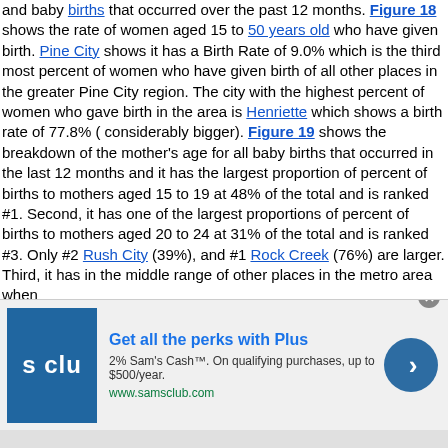and baby births that occurred over the past 12 months. Figure 18 shows the rate of women aged 15 to 50 years old who have given birth. Pine City shows it has a Birth Rate of 9.0% which is the third most percent of women who have given birth of all other places in the greater Pine City region. The city with the highest percent of women who gave birth in the area is Henriette which shows a birth rate of 77.8% ( considerably bigger). Figure 19 shows the breakdown of the mother's age for all baby births that occurred in the last 12 months and it has the largest proportion of percent of births to mothers aged 15 to 19 at 48% of the total and is ranked #1. Second, it has one of the largest proportions of percent of births to mothers aged 20 to 24 at 31% of the total and is ranked #3. Only #2 Rush City (39%), and #1 Rock Creek (76%) are larger. Third, it has in the middle range of other places in the metro area when
[Figure (other): Advertisement banner for Sam's Club Plus membership. Shows S CLU logo on blue background, headline 'Get all the perks with Plus', body text '2% Sam's Cash™. On qualifying purchases, up to $500/year.', URL www.samsclub.com, and a circular blue arrow button.]